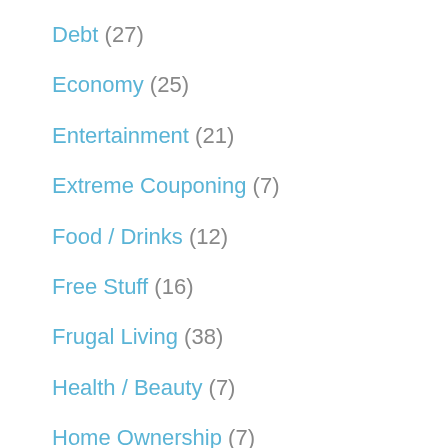Debt (27)
Economy (25)
Entertainment (21)
Extreme Couponing (7)
Food / Drinks (12)
Free Stuff (16)
Frugal Living (38)
Health / Beauty (7)
Home Ownership (7)